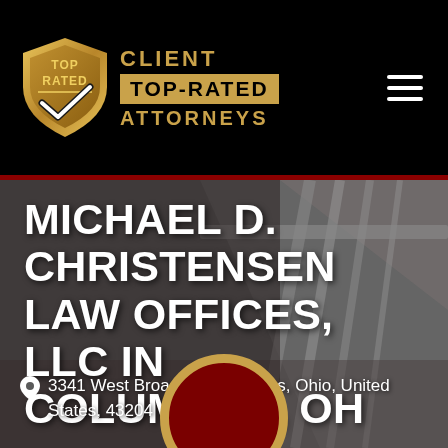[Figure (logo): Top Rated shield logo with checkmark and 'CLIENT TOP-RATED ATTORNEYS' text in gold on black background]
MICHAEL D. CHRISTENSEN LAW OFFICES, LLC IN COLUMBUS, OH
3341 West Broad St, Columbus, Ohio, United States, 43204